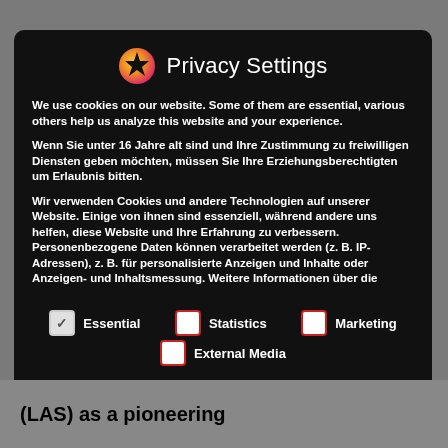Privacy Settings
We use cookies on our website. Some of them are essential, various others help us analyze this website and your experience.
Wenn Sie unter 16 Jahre alt sind und Ihre Zustimmung zu freiwilligen Diensten geben möchten, müssen Sie Ihre Erziehungsberechtigten um Erlaubnis bitten.
Wir verwenden Cookies und andere Technologien auf unserer Website. Einige von ihnen sind essenziell, während andere uns helfen, diese Website und Ihre Erfahrung zu verbessern. Personenbezogene Daten können verarbeitet werden (z. B. IP-Adressen), z. B. für personalisierte Anzeigen und Inhalte oder Anzeigen- und Inhaltsmessung. Weitere Informationen über die
Essential
Statistics
Marketing
External Media
(LAS) as a pioneering